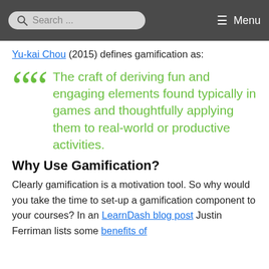Search ... Menu
Yu-kai Chou (2015) defines gamification as:
The craft of deriving fun and engaging elements found typically in games and thoughtfully applying them to real-world or productive activities.
Why Use Gamification?
Clearly gamification is a motivation tool. So why would you take the time to set-up a gamification component to your courses? In an LearnDash blog post Justin Ferriman lists some benefits of